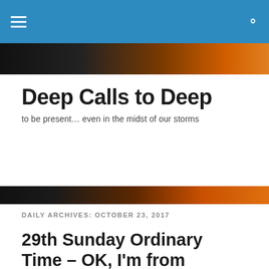Deep Calls to Deep
Deep Calls to Deep
to be present… even in the midst of our storms
DAILY ARCHIVES: OCTOBER 23, 2017
29th Sunday Ordinary Time – OK, I'm from Nebraska. Get over yourselves!